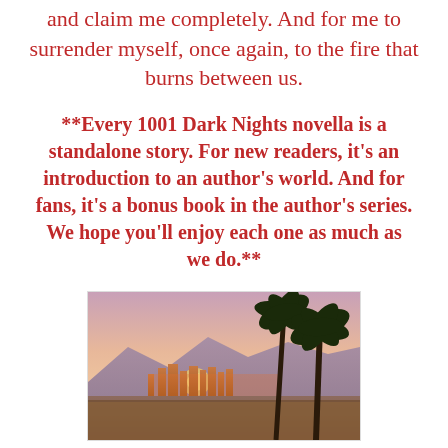and claim me completely. And for me to surrender myself, once again, to the fire that burns between us.
**Every 1001 Dark Nights novella is a standalone story. For new readers, it’s an introduction to an author’s world. And for fans, it’s a bonus book in the author’s series. We hope you'll enjoy each one as much as we do.**
[Figure (photo): Sunset cityscape photo showing a city skyline with two tall palm trees in the foreground, mountains in the background, and a warm pink/orange sky]